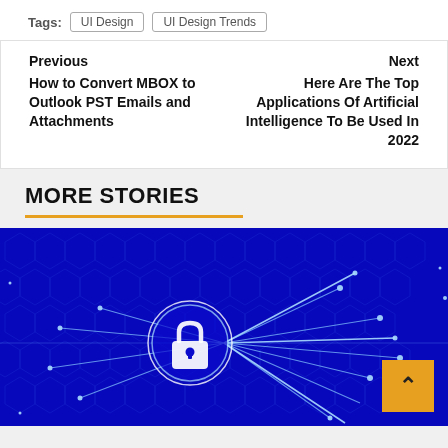Tags: UI Design | UI Design Trends
Previous
How to Convert MBOX to Outlook PST Emails and Attachments
Next
Here Are The Top Applications Of Artificial Intelligence To Be Used In 2022
MORE STORIES
[Figure (photo): Blue digital technology background with glowing network lines and a padlock icon in the center, representing cybersecurity]